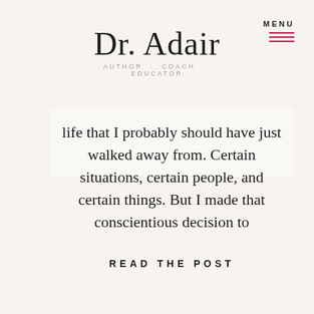Dr. Adair AUTHOR · COACH · EDUCATOR
life that I probably should have just walked away from. Certain situations, certain people, and certain things. But I made that conscientious decision to
READ THE POST